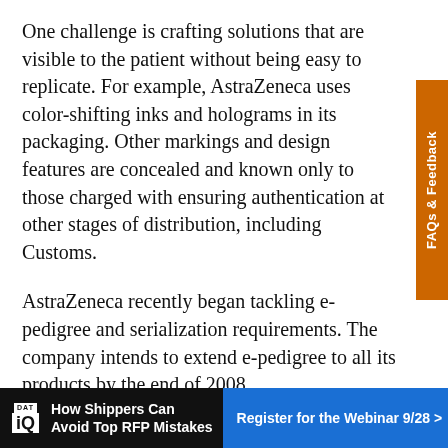One challenge is crafting solutions that are visible to the patient without being easy to replicate. For example, AstraZeneca uses color-shifting inks and holograms in its packaging. Other markings and design features are concealed and known only to those charged with ensuring authentication at other stages of distribution, including Customs.
AstraZeneca recently began tackling e-pedigree and serialization requirements. The company intends to extend e-pedigree to all its products by the end of 2008.
“E-pedigree will enhance supply chain security for patients,” says Crawford. “It will provide greater assurance at the point of use that patients are getting a
[Figure (other): Advertisement banner for DAT iQ webinar: 'How Shippers Can Avoid Top RFP Mistakes' with 'Register for the Webinar 9/28 >' call to action button on blue background]